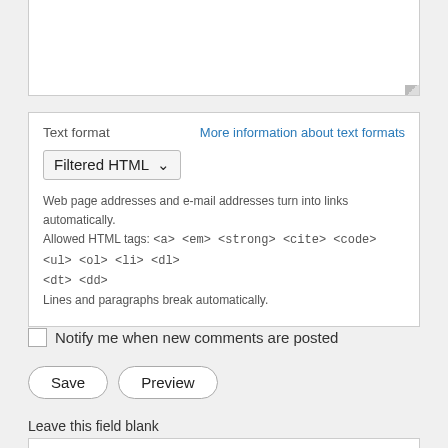[Figure (screenshot): Textarea input box (partially visible, top of page)]
Text format
More information about text formats
Filtered HTML ▾
Web page addresses and e-mail addresses turn into links automatically.
Allowed HTML tags: <a> <em> <strong> <cite> <code> <ul> <ol> <li> <dl> <dt> <dd>
Lines and paragraphs break automatically.
Notify me when new comments are posted
Save
Preview
Leave this field blank
[Figure (screenshot): Empty text input box for honeypot field 'Leave this field blank']